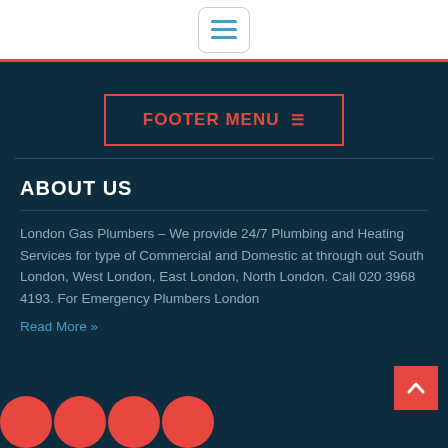[Figure (other): Hamburger menu button icon with three horizontal lines in blue, inside a rounded rectangle border]
FOOTER MENU ≡
ABOUT US
London Gas Plumbers – We provide 24/7 Plumbing and Heating Services for type of Commercial and Domestic at through out South London, West London, East London, North London. Call 020 3968 4193. For Emergency Plumbers London
Read More »
[Figure (other): Scroll to top button — red square with white upward chevron arrow, bottom right]
[Figure (other): Four red circular social media icon placeholders along the bottom left]